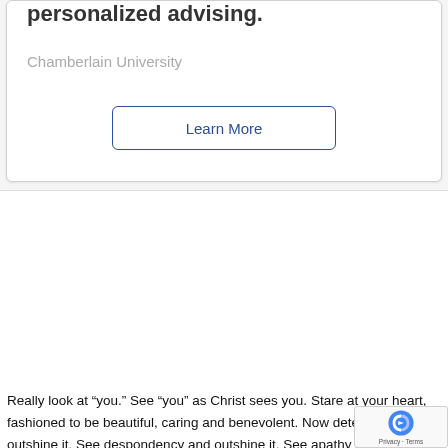personalized advising.
Chamberlain University
Learn More
Really look at “you.” See “you” as Christ sees you. Stare at your heart, fashioned to be beautiful, caring and benevolent. Now detect “ugly” and outshine it. See despondency and outshine it. See apathy and “out-care” it.
You cannot impart to others that which you do not have. Yes, you impart a gracious beauty to others only because you possess and are possessed by a gracious and elegant beauty. You are beautiful. You are beautiful. You are beautiful.